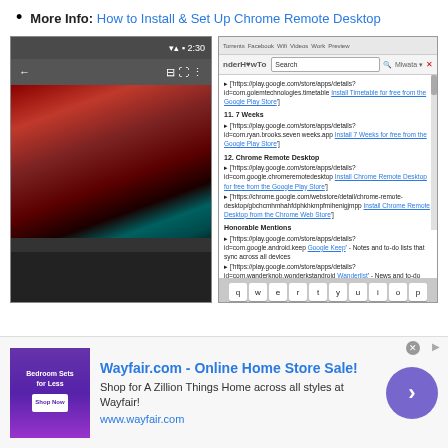More Info: How to Install & Set Up Chrome Remote Desktop
[Figure (screenshot): Two side-by-side screenshots: left shows an Android phone with Chrome Remote Desktop app showing a dark rocky landscape; right shows a desktop browser on WonderHowTo with a list of apps including Chrome Remote Desktop section, and an on-screen keyboard visible at the bottom.]
[Figure (infographic): Advertisement banner for Wayfair.com - Online Home Store Sale! with thumbnail image, description text, and a circular arrow button.]